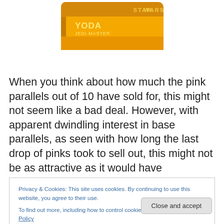[Figure (illustration): Star Wars card/label showing 'YODA JEDI MASTER' text on an orange/yellow rounded rectangle badge with Star Wars logo text at top right]
When you think about how much the pink parallels out of 10 have sold for, this might not seem like a bad deal. However, with apparent dwindling interest in base parallels, as seen with how long the last drop of pinks took to sell out, this might not be as attractive as it would have
Privacy & Cookies: This site uses cookies. By continuing to use this website, you agree to their use.
To find out more, including how to control cookies, see here: Cookie Policy
Close and accept
the point of devaluation. We will get to that later, though.